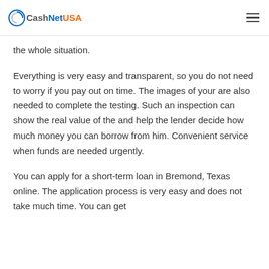CashNetUSA
the whole situation.
Everything is very easy and transparent, so you do not need to worry if you pay out on time. The images of your are also needed to complete the testing. Such an inspection can show the real value of the and help the lender decide how much money you can borrow from him. Convenient service when funds are needed urgently.
You can apply for a short-term loan in Bremond, Texas online. The application process is very easy and does not take much time. You can get